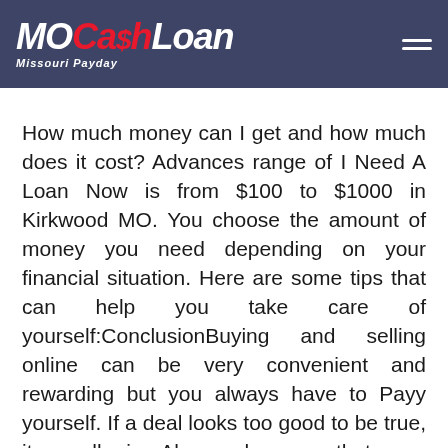MoCashLoan Missouri Payday
How much money can I get and how much does it cost? Advances range of I Need A Loan Now is from $100 to $1000 in Kirkwood MO. You choose the amount of money you need depending on your financial situation. Here are some tips that can help you take care of yourself:ConclusionBuying and selling online can be very convenient and rewarding but you always have to Payy yourself. If a deal looks too good to be true, it usually is. Also make sure that your computer is well protected before you begin any transaction that involves sensitive information. Generally finance charge which